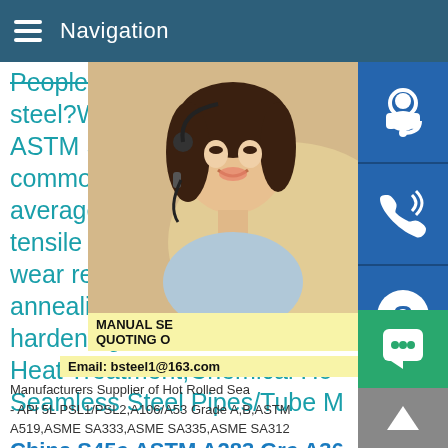Navigation
People also askWhat is ASTM steel?What is ASTM SAE AIS ASTM SAE AISI 1045 steel is commonly used medium carb average carbon content of 0.4 tensile properties,good streng wear resistance.It can be trea annealing,flame treatment or hardening.ASTM SAE AISI 10 Heat Treatment,Chemical Ho Seamless Steel Pipes/Tube M
[Figure (photo): Photo of a woman with headset, customer service representative, with side buttons for customer service icons (headset, phone, Skype)]
MANUAL SE QUOTING O
Email: bsteel1@163.com
Manufacturers Supplier of Hot Rolled Sea - API 5L PSL1/PSL2,A106/A53 Grade A,B,ASTM A519,ASME SA333,ASME SA335,ASME SA312
China S45c ASTM A283 Grc A36 1045 Hot Rolled Steel
Building Material Steel Steel Plate manufacturer / supplier in